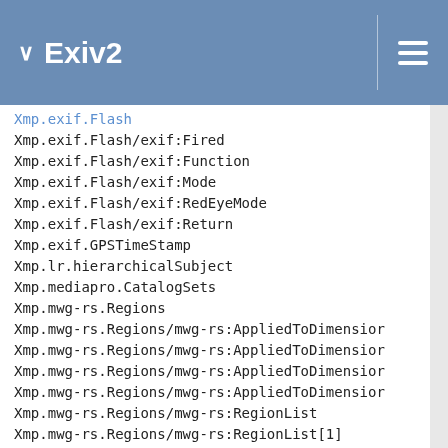Exiv2
Xmp.exif.Flash
Xmp.exif.Flash/exif:Fired
Xmp.exif.Flash/exif:Function
Xmp.exif.Flash/exif:Mode
Xmp.exif.Flash/exif:RedEyeMode
Xmp.exif.Flash/exif:Return
Xmp.exif.GPSTimeStamp
Xmp.lr.hierarchicalSubject
Xmp.mediapro.CatalogSets
Xmp.mwg-rs.Regions
Xmp.mwg-rs.Regions/mwg-rs:AppliedToDimensions
Xmp.mwg-rs.Regions/mwg-rs:AppliedToDimensions
Xmp.mwg-rs.Regions/mwg-rs:AppliedToDimensions
Xmp.mwg-rs.Regions/mwg-rs:AppliedToDimensions
Xmp.mwg-rs.Regions/mwg-rs:RegionList
Xmp.mwg-rs.Regions/mwg-rs:RegionList[1]
Xmp.mwg-rs.Regions/mwg-rs:RegionList[1]/mwg-
Xmp.mwg-rs.Regions/mwg-rs:RegionList[1]/mwg-
Xmp.mwg-rs.Regions/mwg-rs:RegionList[1]/mwg-
Xmp.mwg-rs.Regions/mwg-rs:RegionList[1]/mwg-
Xmp.mwg-rs.Regions/mwg-rs:RegionList[1]/mwg-
Xmp.mwg-rs.Regions/mwg-rs:RegionList[1]/mwg-
Xmp.mwg-rs.Regions/mwg-rs:RegionList[1]/mwg-
Xmp.mwg-rs.Regions/mwg-rs:RegionList[1]/mwg-